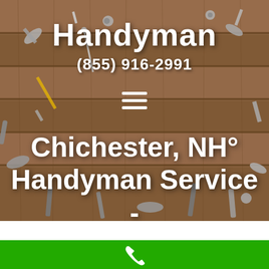[Figure (photo): Background photo of wooden workbench/table covered with various tools including wrenches, screws, nails, pliers, bolts, and other handyman tools, photographed from above.]
Handyman
(855) 916-2991
≡
Chichester, NH° Handyman Service - 12416 Handy Man
[Figure (infographic): Green bottom bar with white phone/call icon in the center.]